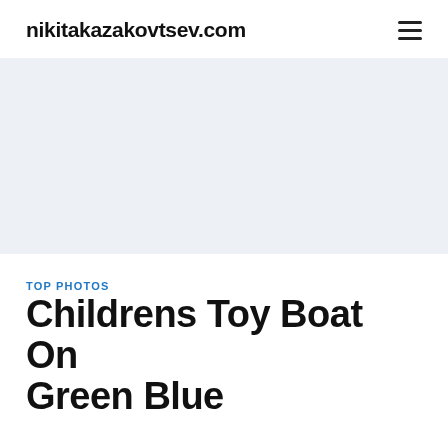nikitakazakovtsev.com
[Figure (other): Advertisement banner placeholder with light blue-grey background]
TOP PHOTOS
Childrens Toy Boat On Green Blue